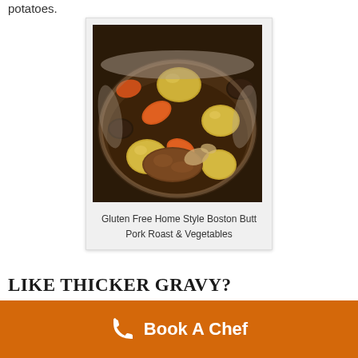potatoes.
[Figure (photo): A roasting pan with Boston Butt Pork Roast, carrots, potatoes, mushrooms and vegetables in gravy]
Gluten Free Home Style Boston Butt Pork Roast & Vegetables
LIKE THICKER GRAVY?
Book A Chef